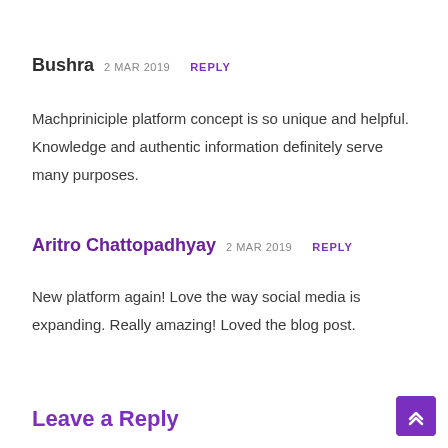Bushra 2 MAR 2019  REPLY
Machpriniciple platform concept is so unique and helpful. Knowledge and authentic information definitely serve many purposes.
Aritro Chattopadhyay 2 MAR 2019  REPLY
New platform again! Love the way social media is expanding. Really amazing! Loved the blog post.
Leave a Reply